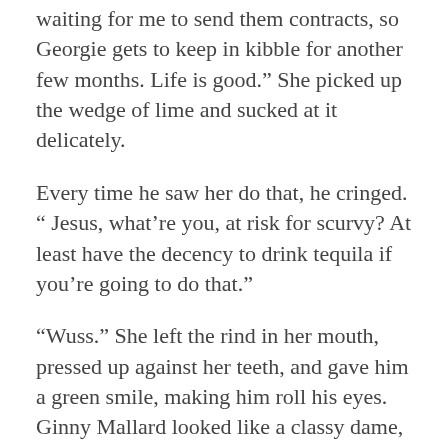waiting for me to send them contracts, so Georgie gets to keep in kibble for another few months. Life is good.” She picked up the wedge of lime and sucked at it delicately.
Every time he saw her do that, he cringed. “ Jesus, what’re you, at risk for scurvy? At least have the decency to drink tequila if you’re going to do that.”
“Wuss.” She left the rind in her mouth, pressed up against her teeth, and gave him a green smile, making him roll his eyes. Ginny Mallard looked like a classy dame, but some days she had the sophistication of a fifth grader.